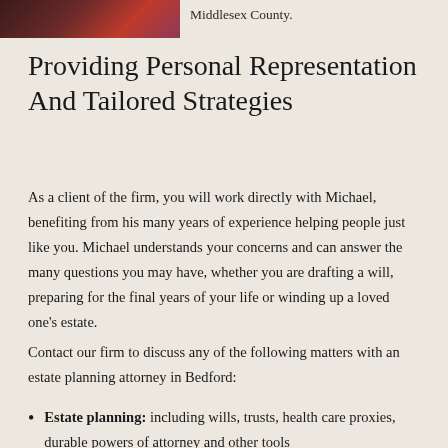[Figure (photo): Partial image of people, cropped at top-left corner]
Middlesex County.
Providing Personal Representation And Tailored Strategies
As a client of the firm, you will work directly with Michael, benefiting from his many years of experience helping people just like you. Michael understands your concerns and can answer the many questions you may have, whether you are drafting a will, preparing for the final years of your life or winding up a loved one's estate.
Contact our firm to discuss any of the following matters with an estate planning attorney in Bedford:
Estate planning: including wills, trusts, health care proxies, durable powers of attorney and other tools